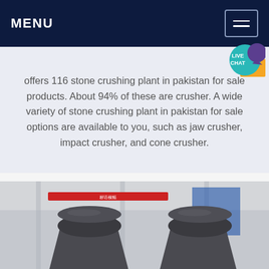MENU
offers 116 stone crushing plant in pakistan for sale products. About 94% of these are crusher. A wide variety of stone crushing plant in pakistan for sale options are available to you, such as jaw crusher, impact crusher, and cone crusher.
[Figure (photo): Industrial photo of two large cone crusher machines in a factory/plant setting with metal structures and banners in the background.]
Get a Quote
WhatsApp